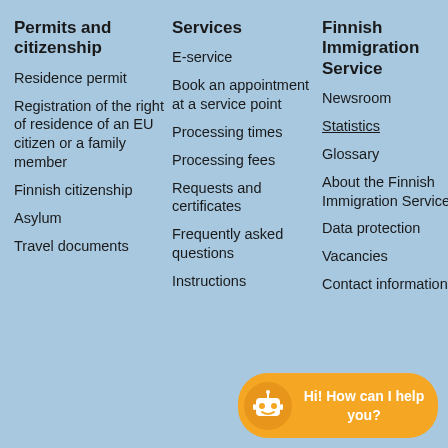Permits and citizenship
Services
Finnish Immigration Service
Residence permit
Registration of the right of residence of an EU citizen or a family member
Finnish citizenship
Asylum
Travel documents
E-service
Book an appointment at a service point
Processing times
Processing fees
Requests and certificates
Frequently asked questions
Instructions
Newsroom
Statistics
Glossary
About the Finnish Immigration Service
Data protection
Vacancies
Contact information
[Figure (illustration): Chatbot widget with robot icon and text: Hi! How can I help you?]